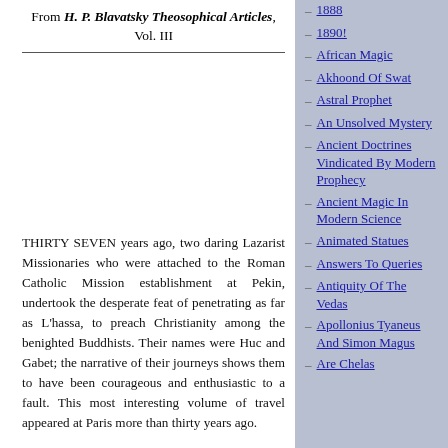From H. P. Blavatsky Theosophical Articles, Vol. III
1888
1890!
African Magic
Akhoond Of Swat
Astral Prophet
An Unsolved Mystery
Ancient Doctrines Vindicated By Modern Prophecy
Ancient Magic In Modern Science
Animated Statues
Answers To Queries
Antiquity Of The Vedas
Apollonius Tyaneus And Simon Magus
Are Chelas
THIRTY SEVEN years ago, two daring Lazarist Missionaries who were attached to the Roman Catholic Mission establishment at Pekin, undertook the desperate feat of penetrating as far as L'hassa, to preach Christianity among the benighted Buddhists. Their names were Huc and Gabet; the narrative of their journeys shows them to have been courageous and enthusiastic to a fault. This most interesting volume of travel appeared at Paris more than thirty years ago.